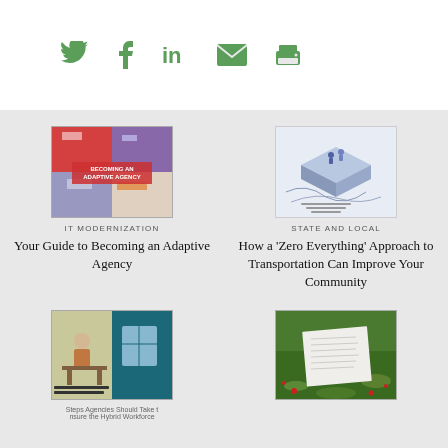[Figure (illustration): Social media sharing icons: Twitter bird, Facebook f, LinkedIn in, email envelope, printer — all in green]
[Figure (photo): Book cover: 'Your Guide to Becoming an Adaptive Agency' with colorful geometric design in red, purple, grey]
IT MODERNIZATION
Your Guide to Becoming an Adaptive Agency
[Figure (illustration): Illustration of a transportation planning document/map with isometric figures, light blue background]
STATE AND LOCAL
How a ‘Zero Everything’ Approach to Transportation Can Improve Your Community
[Figure (illustration): Book cover with teal/blue background showing a person at a desk scene, text partially visible: 'Steps Agencies Should Take to Ensure the Hybrid Workforce']
[Figure (photo): Photo of a paper document lying on green grass with small red flowers]